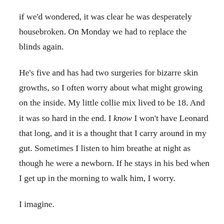if we'd wondered, it was clear he was desperately housebroken. On Monday we had to replace the blinds again.
He's five and has had two surgeries for bizarre skin growths, so I often worry about what might growing on the inside. My little collie mix lived to be 18. And it was so hard in the end. I know I won't have Leonard that long, and it is a thought that I carry around in my gut. Sometimes I listen to him breathe at night as though he were a newborn. If he stays in his bed when I get up in the morning to walk him, I worry.
I imagine.